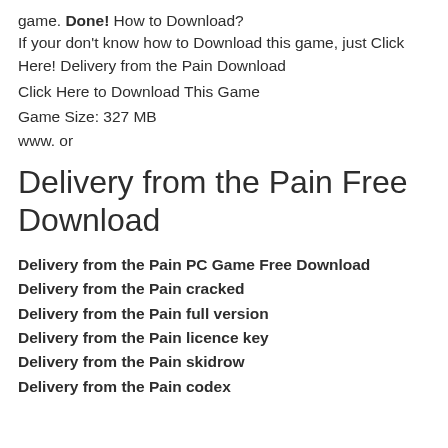game. Done! How to Download? If your don't know how to Download this game, just Click Here! Delivery from the Pain Download
Click Here to Download This Game
Game Size: 327 MB
www. or
Delivery from the Pain Free Download
Delivery from the Pain PC Game Free Download
Delivery from the Pain cracked
Delivery from the Pain full version
Delivery from the Pain licence key
Delivery from the Pain skidrow
Delivery from the Pain codex